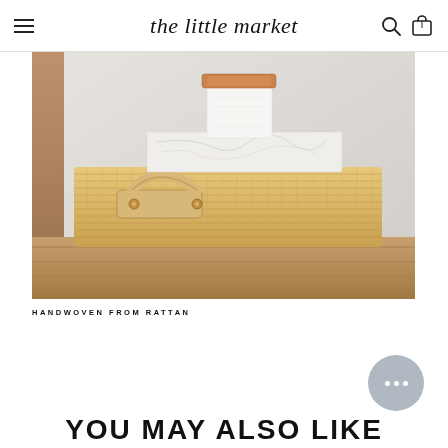the little market
[Figure (photo): A rattan woven rectangular storage box with a leather handle, topped with a marble slab and a white ceramic jar with wooden lid, placed on a wooden shelf against a white wall.]
HANDWOVEN FROM RATTAN
[Figure (other): Chat support button with three dots]
YOU MAY ALSO LIKE